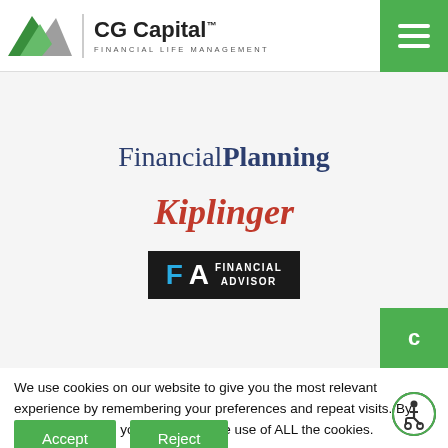[Figure (logo): CG Capital Financial Life Management logo with mountain graphic and text]
[Figure (logo): FinancialPlanning magazine logo in dark blue serif font]
[Figure (logo): Kiplinger logo in red bold italic serif font]
[Figure (logo): FA Financial Advisor logo badge with blue F, white A, and white text on black background]
We use cookies on our website to give you the most relevant experience by remembering your preferences and repeat visits. By clicking “Accept”, you consent to the use of ALL the cookies.